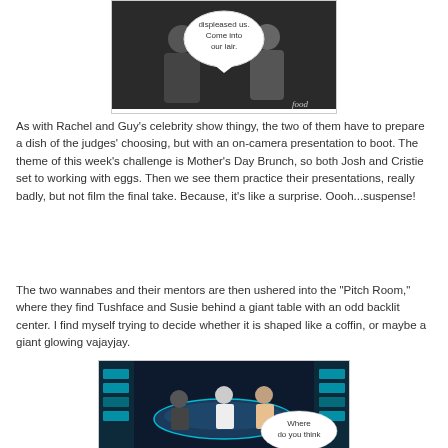[Figure (screenshot): TV show screenshot with speech bubble saying 'displeased us. Come into our lair.' Two people visible with food network watermark.]
As with Rachel and Guy's celebrity show thingy, the two of them have to prepare a dish of the judges' choosing, but with an on-camera presentation to boot. The theme of this week's challenge is Mother's Day Brunch, so both Josh and Cristie set to working with eggs. Then we see them practice their presentations, really badly, but not film the final take. Because, it's like a surprise. Oooh...suspense!
The two wannabes and their mentors are then ushered into the "Pitch Room," where they find Tushface and Susie behind a giant table with an odd backlit center. I find myself trying to decide whether it is shaped like a coffin, or maybe a giant glowing vajayjay.
[Figure (screenshot): TV show screenshot showing the Pitch Room with people around a large illuminated table, speech bubble says 'Where do you think']